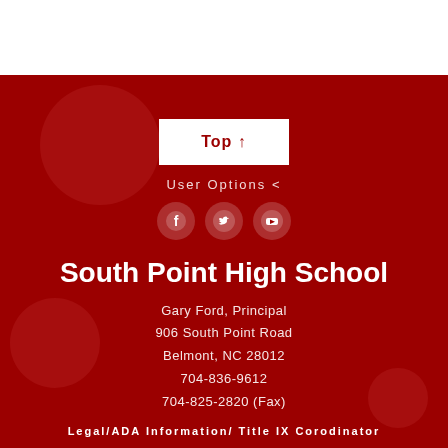[Figure (screenshot): White top section of a school website page]
Top ↑
User Options <
[Figure (illustration): Social media icons: Facebook, Twitter, YouTube]
South Point High School
Gary Ford, Principal
906 South Point Road
Belmont, NC 28012
704-836-9612
704-825-2820 (Fax)
Legal/ADA Information/ Title IX Corodinator